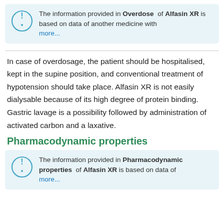The information provided in Overdose of Alfasin XR is based on data of another medicine with more...
In case of overdosage, the patient should be hospitalised, kept in the supine position, and conventional treatment of hypotension should take place. Alfasin XR is not easily dialysable because of its high degree of protein binding. Gastric lavage is a possibility followed by administration of activated carbon and a laxative.
Pharmacodynamic properties
The information provided in Pharmacodynamic properties of Alfasin XR is based on data of more...